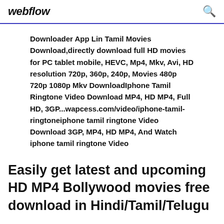webflow
Downloader App Lin Tamil Movies Download,directly download full HD movies for PC tablet mobile, HEVC, Mp4, Mkv, Avi, HD resolution 720p, 360p, 240p, Movies 480p 720p 1080p Mkv DownloadIphone Tamil Ringtone Video Download MP4, HD MP4, Full HD, 3GP...wapcess.com/video/iphone-tamil-ringtoneiphone tamil ringtone Video Download 3GP, MP4, HD MP4, And Watch iphone tamil ringtone Video
Easily get latest and upcoming HD MP4 Bollywood movies free download in Hindi/Tamil/Telugu